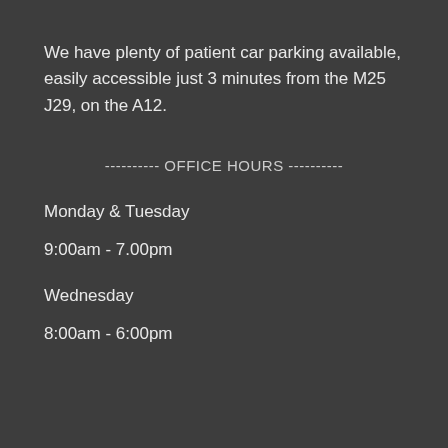We have plenty of patient car parking available, easily accessible just 3 minutes from the M25 J29, on the A12.
---------- OFFICE HOURS ----------
Monday & Tuesday
9:00am - 7.00pm
Wednesday
8:00am - 6:00pm